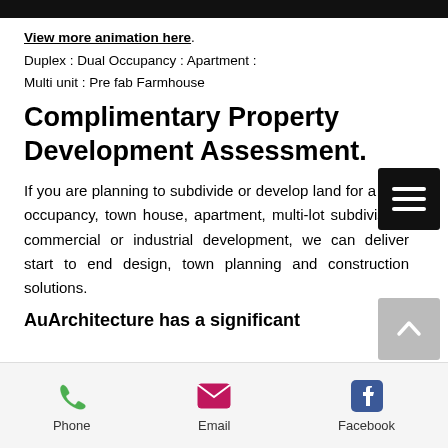View more animation here. Duplex : Dual Occupancy : Apartment : Multi unit : Pre fab Farmhouse
Complimentary Property Development Assessment.
If you are planning to subdivide or develop land for a dual occupancy, town house, apartment, multi-lot subdivision, commercial or industrial development, we can deliver start to end design, town planning and construction solutions.
AuArchitecture has a significant
Phone  Email  Facebook